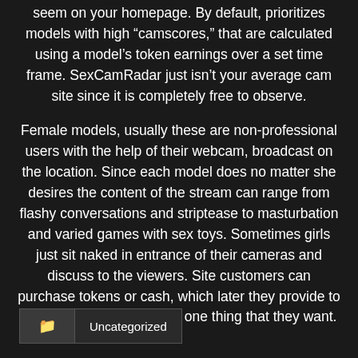seem on your homepage. By default, prioritizes models with high “camscores,” that are calculated using a model’s token earnings over a set time frame. SexCamRadar just isn’t your average cam site since it is completely free to observe.
Female models, usually these are non-professional users with the help of their webcam, broadcast on the location. Since each model does no matter she desires the content of the stream can range from flashy conversations and striptease to masturbation and varied games with sex toys. Sometimes girls just sit naked in entrance of their cameras and discuss to the viewers. Site customers can purchase tokens or cash, which later they provide to models asking them to do one thing that they want.
Uncategorized